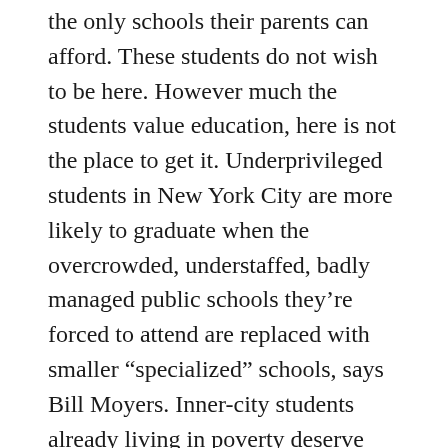the only schools their parents can afford. These students do not wish to be here. However much the students value education, here is not the place to get it. Underprivileged students in New York City are more likely to graduate when the overcrowded, understaffed, badly managed public schools they’re forced to attend are replaced with smaller “specialized” schools, says Bill Moyers. Inner-city students already living in poverty deserve better than failing schools that don’t motivate them or teach them to succeed. We aren’t doing enough to help these students; we need to upgrade their schools and offer the best education we can to ensure their